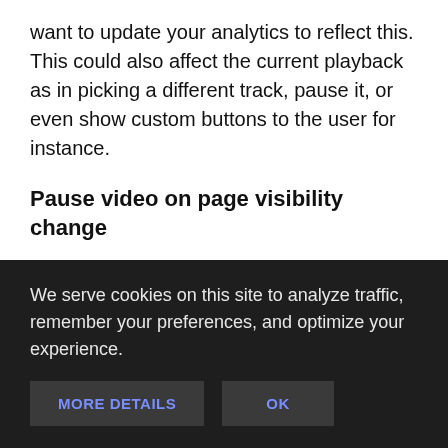want to update your analytics to reflect this. This could also affect the current playback as in picking a different track, pause it, or even show custom buttons to the user for instance.
Pause video on page visibility change
With the Page Visibility API, we can determine the current visibility of a page and be notified of visibility changes. Such help us provide...
We serve cookies on this site to analyze traffic, remember your preferences, and optimize your experience.